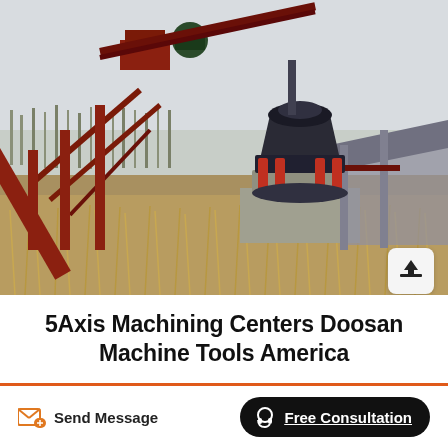[Figure (photo): Industrial machinery at an outdoor site: a large red steel conveyor/transport structure on the left angled upward, a large dark grey cone crusher in the center mounted on a concrete base with red hydraulic cylinders, and a metal roofed shed structure on the right. Dry tall brown grass in the foreground, bare trees and overcast sky in the background.]
5Axis Machining Centers Doosan Machine Tools America
Send Message
Free Consultation